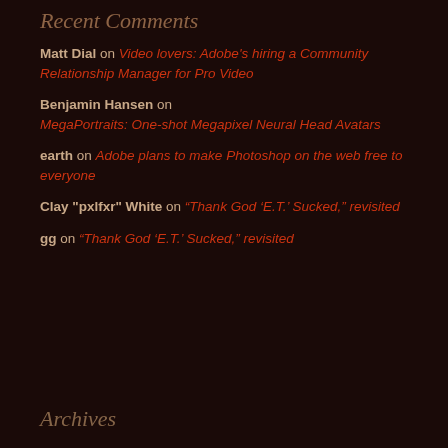Recent Comments
Matt Dial on Video lovers: Adobe's hiring a Community Relationship Manager for Pro Video
Benjamin Hansen on MegaPortraits: One-shot Megapixel Neural Head Avatars
earth on Adobe plans to make Photoshop on the web free to everyone
Clay "pxlfxr" White on “Thank God ‘E.T.’ Sucked,” revisited
gg on “Thank God ‘E.T.’ Sucked,” revisited
Archives